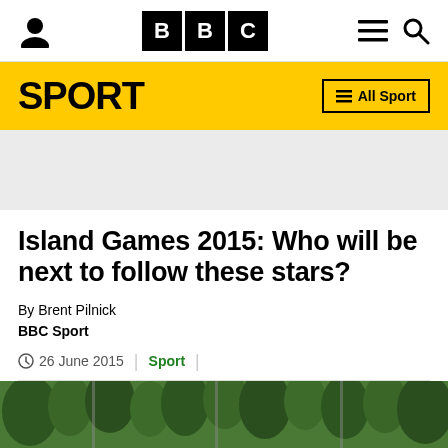BBC Sport
SPORT | All Sport
Island Games 2015: Who will be next to follow these stars?
By Brent Pilnick
BBC Sport
26 June 2015 | Sport
[Figure (photo): Outdoor photo showing trees and poles, bottom of article image]